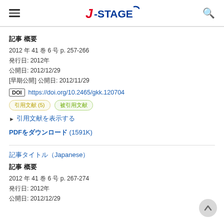J-STAGE
記事 概要
2012 年 41 巻 6 号 p. 257-266
発行日: 2012年
公開日: 2012/12/29
[早期公開] 公開日: 2012/11/29
DOI https://doi.org/10.2465/gkk.120704
引用文献 (5) 被引用文献 (3)
▶ 引用文献を表示する
PDFをダウンロード (1591K)
記事タイトル（Japanese）
記事 概要
2012 年 41 巻 6 号 p. 267-274
発行日: 2012年
公開日: 2012/12/29